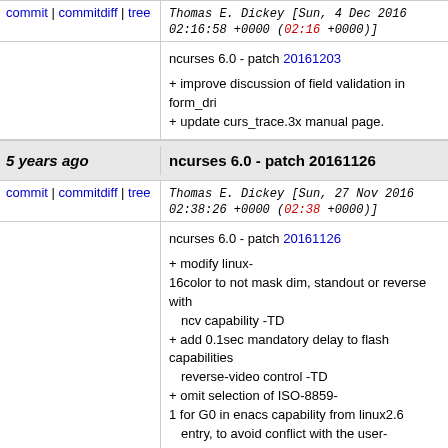commit | commitdiff | tree   Thomas E. Dickey [Sun, 4 Dec 2016 02:16:58 +0000 (02:16 +0000)]
ncurses 6.0 - patch 20161203
+ improve discussion of field validation in form_dri
+ update curs_trace.3x manual page.
5 years ago   ncurses 6.0 - patch 20161126
commit | commitdiff | tree   Thomas E. Dickey [Sun, 27 Nov 2016 02:38:26 +0000 (02:38 +0000)]
ncurses 6.0 - patch 20161126
+ modify linux-16color to not mask dim, standout or reverse with ncv capability -TD
+ add 0.1sec mandatory delay to flash capabilities reverse-video control -TD
+ omit selection of ISO-8859-1 for G0 in enacs capability from linux2.6 entry, to avoid conflict with the user-defined mapping.  The reset feature will use ISO-8859-1 in any case (Mikulas Patocka).
+ improve check in tic for delays by also warning a when a delay is not embedded, or if those use th video escape without using a delay.